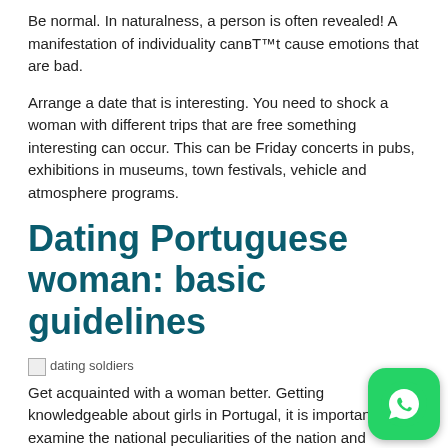Be normal. In naturalness, a person is often revealed! A manifestation of individuality can't cause emotions that are bad.
Arrange a date that is interesting. You need to shock a woman with different trips that are free something interesting can occur. This can be Friday concerts in pubs, exhibitions in museums, town festivals, vehicle and atmosphere programs.
Dating Portuguese woman: basic guidelines
[Figure (photo): Broken image placeholder labeled 'dating soldiers']
Get acquainted with a woman better. Getting knowledgeable about girls in Portugal, it is important to examine the national peculiarities of the nation and customs that are cultural. This can assist you to realize their nature better.
Save money time together. Nontrivial tasks leave plenty of